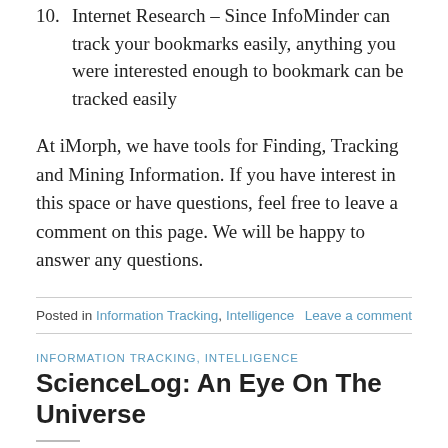10. Internet Research – Since InfoMinder can track your bookmarks easily, anything you were interested enough to bookmark can be tracked easily
At iMorph, we have tools for Finding, Tracking and Mining Information. If you have interest in this space or have questions, feel free to leave a comment on this page. We will be happy to answer any questions.
Posted in Information Tracking, Intelligence    Leave a comment
INFORMATION TRACKING, INTELLIGENCE
ScienceLog: An Eye On The Universe
POSTED ON JANUARY 4, 2019 BY DORAI THODLA